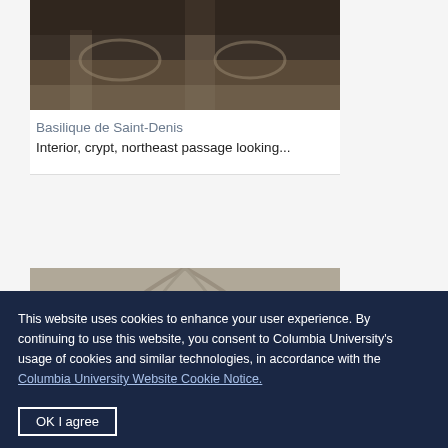[Figure (photo): Interior of crypt at Basilique de Saint-Denis, northeast passage]
Basilique de Saint-Denis Interior, crypt, northeast passage looking...
[Figure (photo): Interior of Basilique de Saint-Denis showing arched windows with stained glass]
This website uses cookies to enhance your user experience. By continuing to use this website, you consent to Columbia University's usage of cookies and similar technologies, in accordance with the Columbia University Website Cookie Notice.
OK I agree